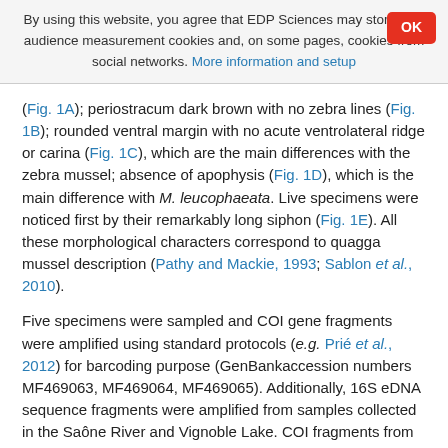By using this website, you agree that EDP Sciences may store web audience measurement cookies and, on some pages, cookies from social networks. More information and setup
(Fig. 1A); periostracum dark brown with no zebra lines (Fig. 1B); rounded ventral margin with no acute ventrolateral ridge or carina (Fig. 1C), which are the main differences with the zebra mussel; absence of apophysis (Fig. 1D), which is the main difference with M. leucophaeata. Live specimens were noticed first by their remarkably long siphon (Fig. 1E). All these morphological characters correspond to quagga mussel description (Pathy and Mackie, 1993; Sablon et al., 2010).
Five specimens were sampled and COI gene fragments were amplified using standard protocols (e.g. Prié et al., 2012) for barcoding purpose (GenBankaccession numbers MF469063, MF469064, MF469065). Additionally, 16S eDNA sequence fragments were amplified from samples collected in the Saône River and Vignoble Lake. COI fragments from live